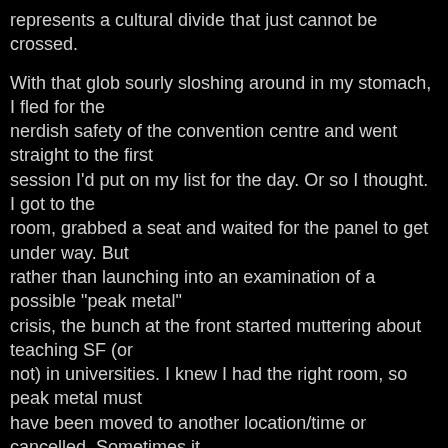represents a cultural divide that just cannot be crossed.
With that glob sourly sloshing around in my stomach, I fled for the nerdish safety of the convention centre and went straight to the first session I'd put on my list for the day. Or so I thought. I got to the room, grabbed a seat and waited for the panel to get under way. But rather than launching into an examination of a possible "peak metal" crisis, the bunch at the front started muttering about teaching SF (or not) in universities. I knew I had the right room, so peak metal must have been moved to another location/time or cancelled. Sometimes it helps to check the schedule update board at the info desk before starting the day.
Did it b...